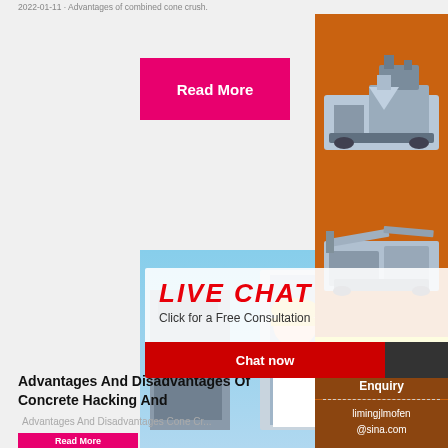2022-01-11 · Advantages of combined cone crush.
[Figure (screenshot): Pink Read More button]
[Figure (photo): Live chat popup overlay showing workers in yellow hard hats with LIVE CHAT heading in red, subtitle 'Click for a Free Consultation', Chat now (red) and Chat later (dark) buttons, and a close X button]
Advantages And Disadvantages Of Concrete Hacking And
Advantages And Disadvantages Cone Cr...
[Figure (screenshot): Pink Read More button (bottom)]
[Figure (photo): Sidebar showing orange/brown panel with machinery images, yellow discount bar saying 'Enjoy 3% discount' and 'Click to Chat', Enquiry section, and contact email limingjlmofen@sina.com]